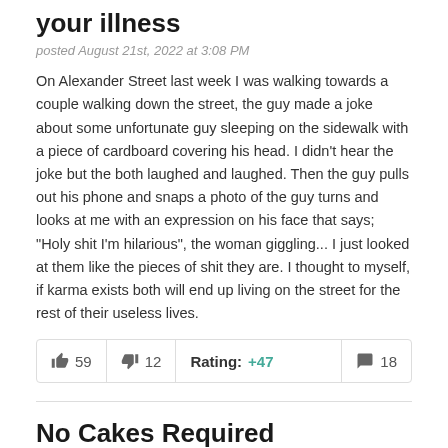your illness
posted August 21st, 2022 at 3:08 PM
On Alexander Street last week I was walking towards a couple walking down the street, the guy made a joke about some unfortunate guy sleeping on the sidewalk with a piece of cardboard covering his head. I didn't hear the joke but the both laughed and laughed. Then the guy pulls out his phone and snaps a photo of the guy turns and looks at me with an expression on his face that says; "Holy shit I'm hilarious", the woman giggling... I just looked at them like the pieces of shit they are. I thought to myself, if karma exists both will end up living on the street for the rest of their useless lives.
| 👍 59 | 👎 12 | Rating: +47 | 💬 18 |
No Cakes Required
posted August 20th, 2022 at 11:26 PM
I hate my birthday. I hate it so much I feel anxious about it. I don't